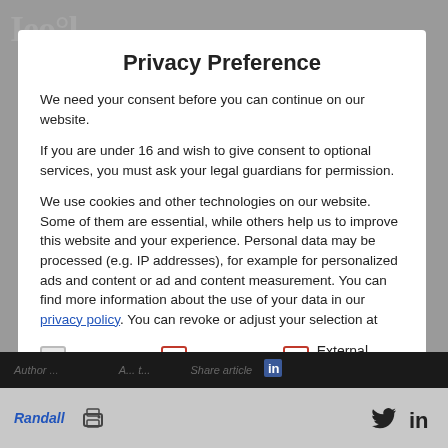Privacy Preference
We need your consent before you can continue on our website.
If you are under 16 and wish to give consent to optional services, you must ask your legal guardians for permission.
We use cookies and other technologies on our website. Some of them are essential, while others help us to improve this website and your experience. Personal data may be processed (e.g. IP addresses), for example for personalized ads and content or ad and content measurement. You can find more information about the use of your data in our privacy policy. You can revoke or adjust your selection at
Essential
Marketing
External Media
Author: ... | Randall | Share article | print icon | Twitter | LinkedIn